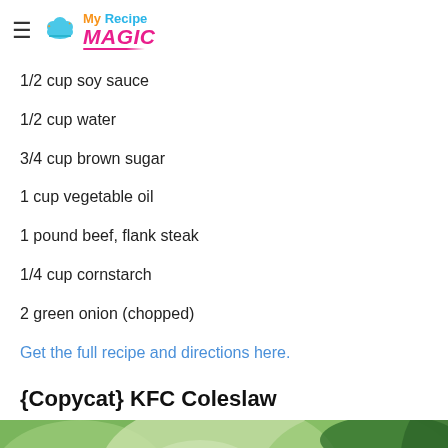My Recipe MAGIC
1/2 cup soy sauce
1/2 cup water
3/4 cup brown sugar
1 cup vegetable oil
1 pound beef, flank steak
1/4 cup cornstarch
2 green onion (chopped)
Get the full recipe and directions here.
{Copycat} KFC Coleslaw
[Figure (photo): Close-up photo of coleslaw salad with shredded cabbage and vegetables, watermark reads MONDY'S RECIPE BOX]